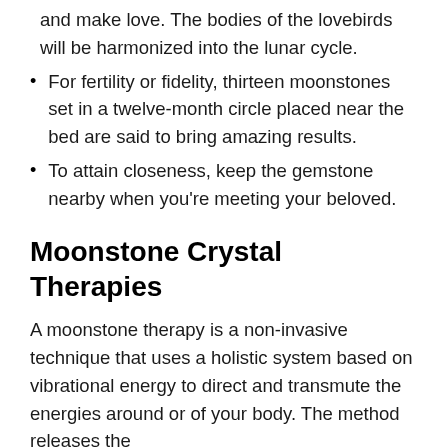and make love. The bodies of the lovebirds will be harmonized into the lunar cycle.
For fertility or fidelity, thirteen moonstones set in a twelve-month circle placed near the bed are said to bring amazing results.
To attain closeness, keep the gemstone nearby when you're meeting your beloved.
Moonstone Crystal Therapies
A moonstone therapy is a non-invasive technique that uses a holistic system based on vibrational energy to direct and transmute the energies around or of your body. The method releases the